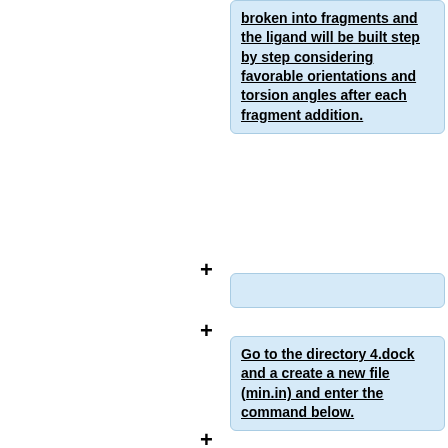broken into fragments and the ligand will be built step by step considering favorable orientations and torsion angles after each fragment addition.
+
+
Go to the directory 4.dock and a create a new file (min.in) and enter the command below.
+
dock6 -i min.in -o min.out
+
+
Answer the prompted questions using the answers given below   """or"""   include the following lines in the min.in file at before entering the above command to avoid